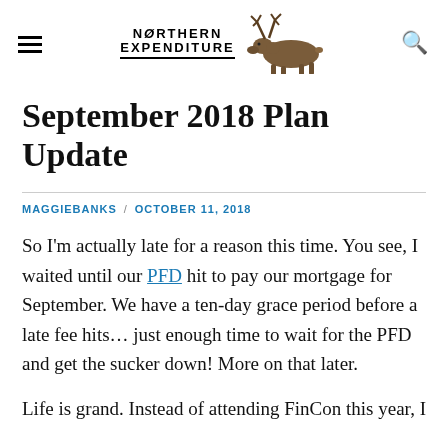NORTHERN EXPENDITURE
September 2018 Plan Update
MAGGIEBANKS / OCTOBER 11, 2018
So I'm actually late for a reason this time. You see, I waited until our PFD hit to pay our mortgage for September. We have a ten-day grace period before a late fee hits… just enough time to wait for the PFD and get the sucker down! More on that later.
Life is grand. Instead of attending FinCon this year, I